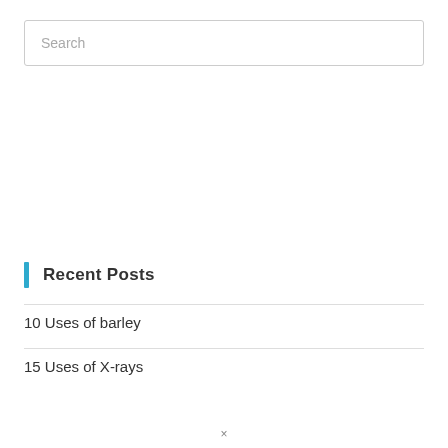Search
Recent Posts
10 Uses of barley
15 Uses of X-rays
×